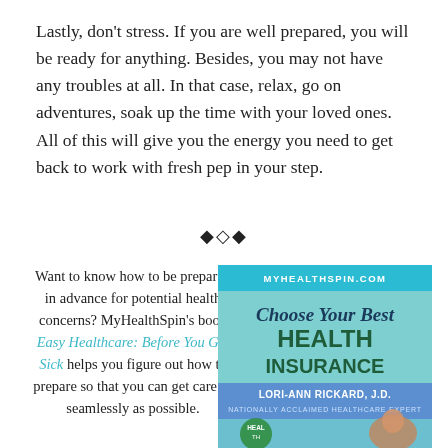Lastly, don't stress. If you are well prepared, you will be ready for anything. Besides, you may not have any troubles at all. In that case, relax, go on adventures, soak up the time with your loved ones. All of this will give you the energy you need to get back to work with fresh pep in your step.
◆◇◆
Want to know how to be prepared in advance for potential health concerns? MyHealthSpin's book Easy Healthcare: Before You Get Sick helps you figure out how to prepare so that you can get care as seamlessly as possible.
[Figure (illustration): Book cover for 'Choose Your Best Health Insurance' by Lori-Ann Rickard, J.D., Nationally Acclaimed Healthcare Expert. Header says MYHEALTHSPIN.COM on a cyan/teal banner. Title in script and bold teal. Author photo at bottom right. Green circular logo at bottom left.]